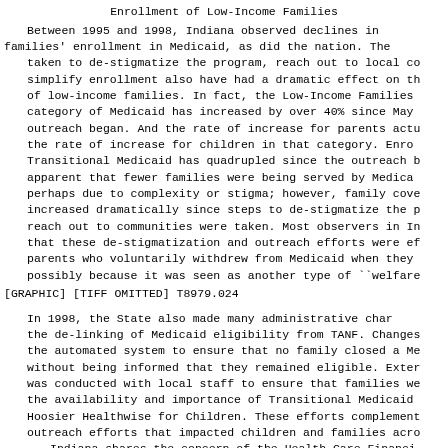Enrollment of Low-Income Families
Between 1995 and 1998, Indiana observed declines in families' enrollment in Medicaid, as did the nation. The taken to de-stigmatize the program, reach out to local co simplify enrollment also have had a dramatic effect on th of low-income families. In fact, the Low-Income Families category of Medicaid has increased by over 40% since May outreach began. And the rate of increase for parents actu the rate of increase for children in that category. Enro Transitional Medicaid has quadrupled since the outreach b apparent that fewer families were being served by Medica perhaps due to complexity or stigma; however, family cove increased dramatically since steps to de-stigmatize the p reach out to communities were taken. Most observers in In that these de-stigmatization and outreach efforts were ef parents who voluntarily withdrew from Medicaid when they possibly because it was seen as another type of ``welfare
[GRAPHIC] [TIFF OMITTED] T8979.024
In 1998, the State also made many administrative char the de-linking of Medicaid eligibility from TANF. Changes the automated system to ensure that no family closed a Me without being informed that they remained eligible. Exter was conducted with local staff to ensure that families we the availability and importance of Transitional Medicaid Hoosier Healthwise for Children. These efforts complement outreach efforts that impacted children and families acro Indiana shares the concern of the Health Care Financi (HCFA) that families who are eligible for coverage must c